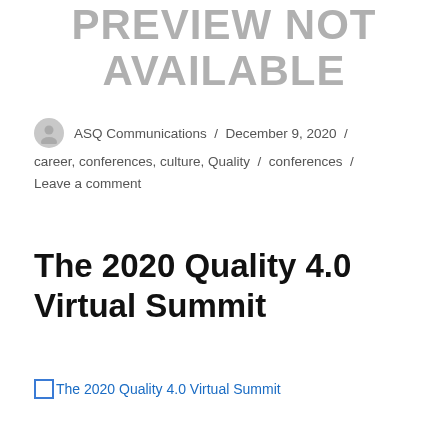PREVIEW NOT AVAILABLE
ASQ Communications / December 9, 2020 / career, conferences, culture, Quality / conferences / Leave a comment
The 2020 Quality 4.0 Virtual Summit
[Figure (other): Broken image placeholder link reading 'The 2020 Quality 4.0 Virtual Summit']